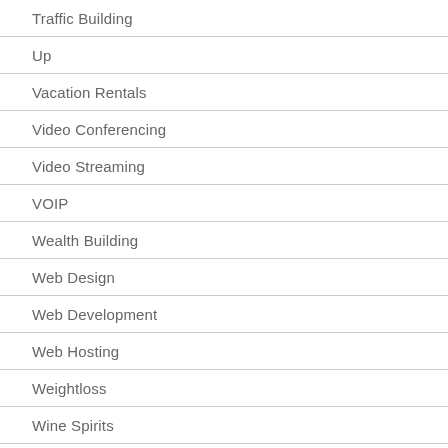Traffic Building
Up
Vacation Rentals
Video Conferencing
Video Streaming
VOIP
Wealth Building
Web Design
Web Development
Web Hosting
Weightloss
Wine Spirits
Writing